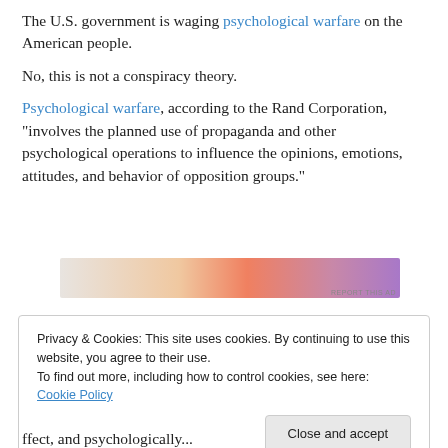The U.S. government is waging psychological warfare on the American people.
No, this is not a conspiracy theory.
Psychological warfare, according to the Rand Corporation, “involves the planned use of propaganda and other psychological operations to influence the opinions, emotions, attitudes, and behavior of opposition groups.”
[Figure (other): Advertisement banner with gradient colors from beige to orange to purple]
Privacy & Cookies: This site uses cookies. By continuing to use this website, you agree to their use.
To find out more, including how to control cookies, see here: Cookie Policy
Close and accept
ffect, and psychologically...